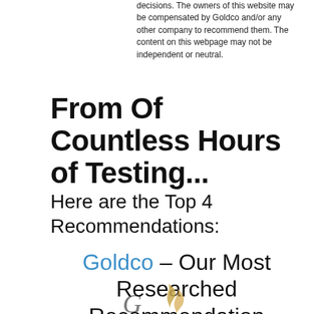decisions. The owners of this website may be compensated by Goldco and/or any other company to recommend them. The content on this webpage may not be independent or neutral.
From Of Countless Hours of Testing...
Here are the Top 4 Recommendations:
Goldco – Our Most Researched Recommendation
[Figure (logo): Goldco logo — partial gold swoosh/flame graphic at bottom of page]